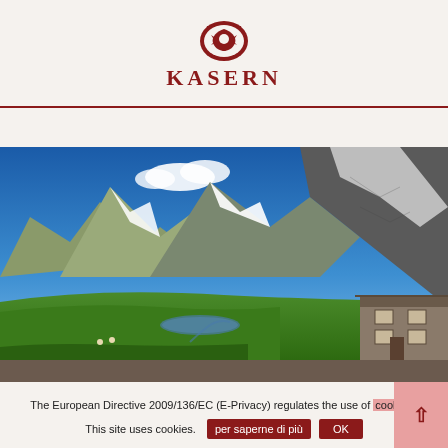[Figure (logo): Kasern hotel/resort logo with red emblem and stylized text 'KASERN' in red serif uppercase letters]
[Figure (photo): Alpine mountain landscape with snow-capped peaks, green valley, small lake, and a stone alpine hut on the right side. Blue sky with white clouds.]
The European Directive 2009/136/EC (E-Privacy) regulates the use of cookies.
This site uses cookies. per saperne di più  OK